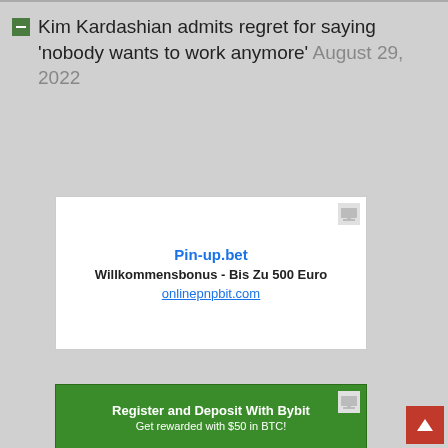Kim Kardashian admits regret for saying 'nobody wants to work anymore' August 29, 2022
[Figure (other): Advertisement box for Pin-up.bet with text: Pin-up.bet, Willkommensbonus - Bis Zu 500 Euro, onlinepnpbit.com]
[Figure (other): Advertisement box (green background) for Bybit: Register and Deposit With Bybit, Get rewarded with $50 in BTC!]